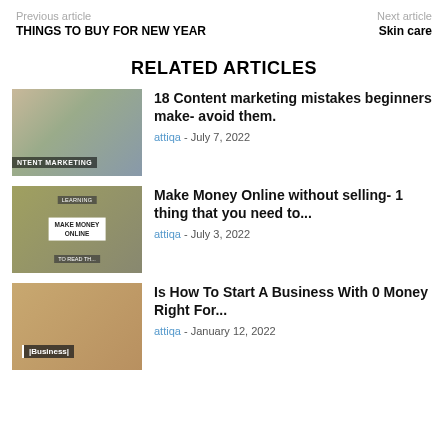Previous article
Next article
THINGS TO BUY FOR NEW YEAR
Skin care
RELATED ARTICLES
[Figure (photo): Person writing near a laptop - content marketing themed image with text overlay 'NTENT MARKETING']
18 Content marketing mistakes beginners make- avoid them.
attiqa - July 7, 2022
[Figure (photo): Dollar bills background with overlaid text boxes reading 'LEARNING', 'MAKE MONEY ONLINE', 'TO READ THE']
Make Money Online without selling- 1 thing that you need to...
attiqa - July 3, 2022
[Figure (photo): Desktop with notebooks, mouse, tablet showing 'Business' label]
Is How To Start A Business With 0 Money Right For...
attiqa - January 12, 2022